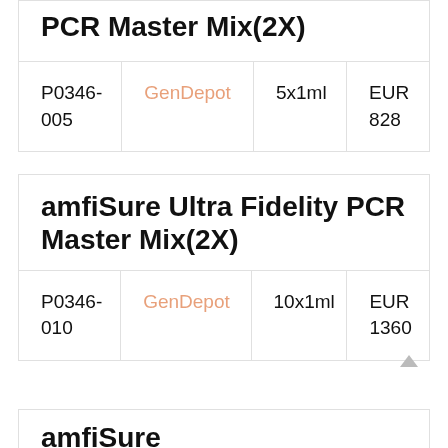PCR Master Mix(2X)
| SKU | Brand | Size | Price |
| --- | --- | --- | --- |
| P0346-005 | GenDepot | 5x1ml | EUR 828 |
amfiSure Ultra Fidelity PCR Master Mix(2X)
| SKU | Brand | Size | Price |
| --- | --- | --- | --- |
| P0346-010 | GenDepot | 10x1ml | EUR 1360 |
amfiSure...